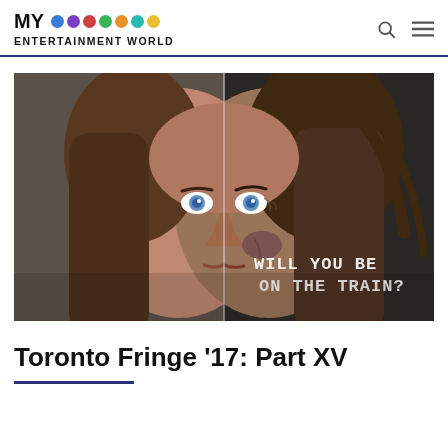MY ENTERTAINMENT WORLD
[Figure (photo): Split-face photograph of a young woman: left half shows her with normal appearance, right half shows her with aged/distressed makeup. Text overlay reads 'WILL YOU BE ON THE TRAIN?' in chalk-style lettering on the right dark side.]
Toronto Fringe ’17: Part XV